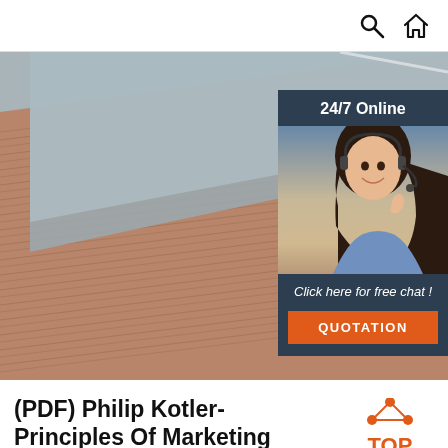Search and Home icons
[Figure (photo): Close-up photo of stacked plywood or wood laminate sheets showing layers, overlaid with a 24/7 Online chat advertisement banner featuring a woman with a headset and a QUOTATION button]
(PDF) Philip Kotler- Principles Of Marketing
Academia.edu is a platform for academics to share research papers.